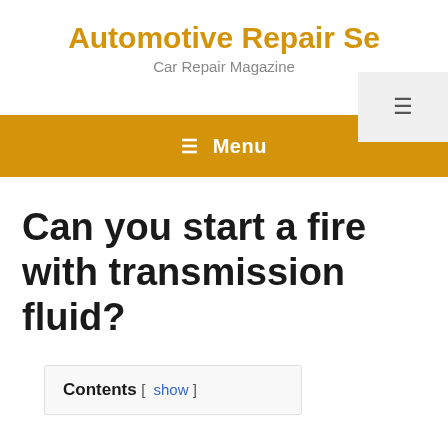Automotive Repair Se
Car Repair Magazine
Can you start a fire with transmission fluid?
Contents [ show ]